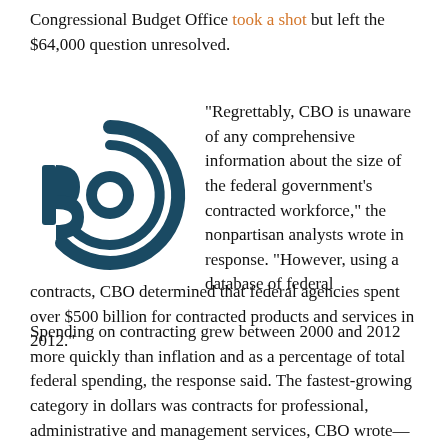Congressional Budget Office took a shot but left the $64,000 question unresolved.
[Figure (logo): Congressional Budget Office (CBO) circular logo in dark teal/navy blue, featuring stylized letter forms in a spiral/concentric circle design]
“Regrettably, CBO is unaware of any comprehensive information about the size of the federal government’s contracted workforce,” the nonpartisan analysts wrote in response. “However, using a database of federal contracts, CBO determined that federal agencies spent over $500 billion for contracted products and services in 2012.”
Spending on contracting grew between 2000 and 2012 more quickly than inflation and as a percentage of total federal spending, the response said. The fastest-growing category in dollars was contracts for professional, administrative and management services, CBO wrote—